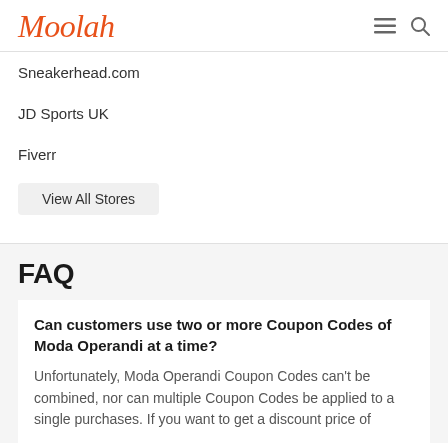Moolah
Sneakerhead.com
JD Sports UK
Fiverr
View All Stores
FAQ
Can customers use two or more Coupon Codes of Moda Operandi at a time?
Unfortunately, Moda Operandi Coupon Codes can't be combined, nor can multiple Coupon Codes be applied to a single purchases. If you want to get a discount price of